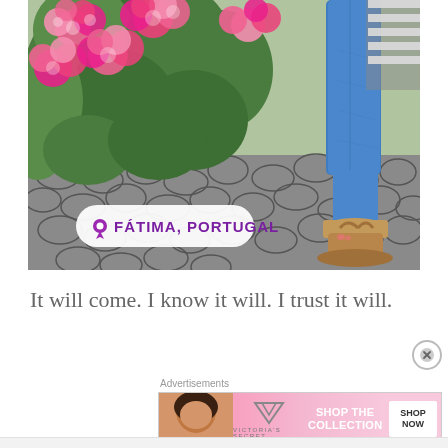[Figure (photo): Photo of pink hydrangea flowers with green leaves in the background, and a person's legs in blue jeans wearing tan sandals on cobblestone pavement. A location badge overlay reads 'FÁTIMA, PORTUGAL' with a purple pin icon on a white rounded rectangle.]
It will come. I know it will. I trust it will.
[Figure (photo): Victoria's Secret advertisement banner showing a woman model on the left, the VS logo in center, text 'SHOP THE COLLECTION' and a white button 'SHOP NOW' on pink gradient background. Labeled 'Advertisements' above.]